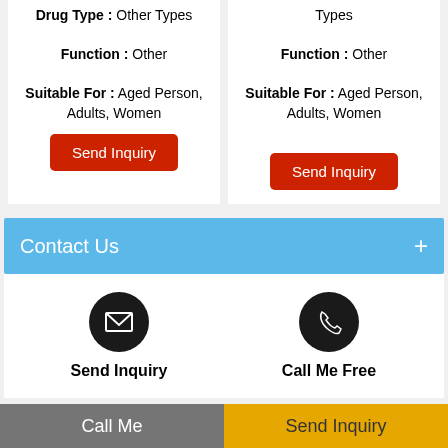Drug Type : Other Types
Function : Other
Suitable For : Aged Person, Adults, Women
Types
Function : Other
Suitable For : Aged Person, Adults, Women
Send Inquiry (left card)
Send Inquiry (right card)
Contact Us +
[Figure (infographic): Email icon (envelope) in black circle — Send Inquiry]
Send Inquiry
[Figure (infographic): Phone icon in black circle — Call Me Free]
Call Me Free
Home   Product   Company Profile   Site Map
Call Me
Send Inquiry